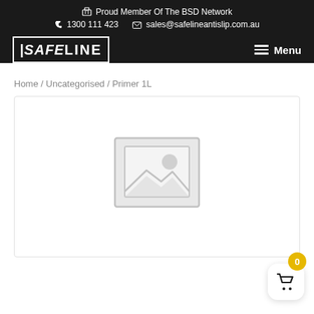Proud Member Of The BSD Network  |  1300 111 423  |  sales@safelineantislip.com.au
[Figure (logo): SAFELINE logo in white text with border on dark background, with Menu hamburger button on right]
Home / Uncategorised / Primer 1L
[Figure (other): Product image placeholder showing a generic image placeholder icon (mountain and sun) with light grey background]
[Figure (other): Floating shopping cart button with yellow badge showing 0 items]